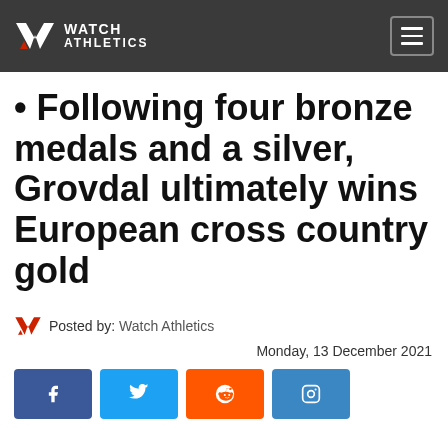Watch Athletics
• Following four bronze medals and a silver, Grovdal ultimately wins European cross country gold
Posted by: Watch Athletics
Monday, 13 December 2021
[Figure (other): Social share buttons: Facebook, Twitter, Reddit, Instagram]